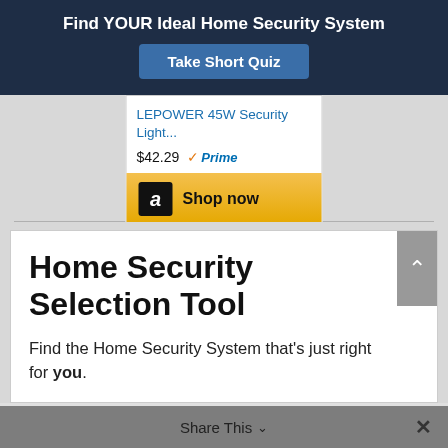Find YOUR Ideal Home Security System
Take Short Quiz
LEPOWER 45W Security Light...
$42.29 Prime
Shop now
10 Security Gift Ideas
Home Security Selection Tool
Find the Home Security System that's just right for you.
Share This